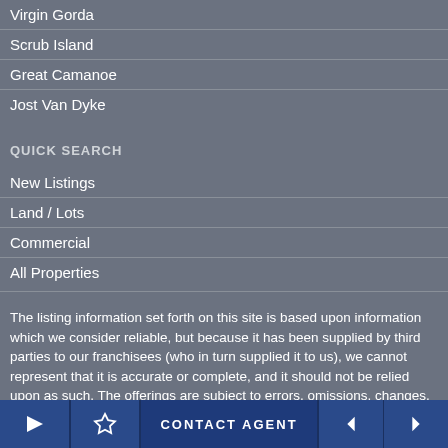Virgin Gorda
Scrub Island
Great Camanoe
Jost Van Dyke
QUICK SEARCH
New Listings
Land / Lots
Commercial
All Properties
The listing information set forth on this site is based upon information which we consider reliable, but because it has been supplied by third parties to our franchisees (who in turn supplied it to us), we cannot represent that it is accurate or complete, and it should not be relied upon as such. The offerings are subject to errors, omissions, changes, including price, or withdrawal without notice. All dimensions are approximate and have not been verified by the selling party and cannot be verified by Sotheby's International Realty Affiliates LLC. It is recommended that
← ☆ CONTACT AGENT ◄ ►